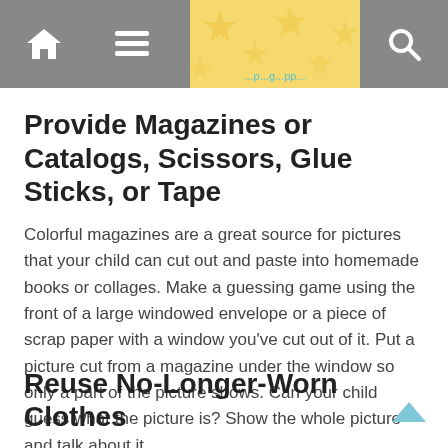Provide Magazines or Catalogs, Scissors, Glue Sticks, or Tape
Colorful magazines are a great source for pictures that your child can cut out and paste into homemade books or collages. Make a guessing game using the front of a large windowed envelope or a piece of scrap paper with a window you've cut out of it. Put a picture cut from a magazine under the window so only a part of the picture shows. Can your child guess what the picture is? Show the whole picture and talk about it.
Reuse No-Longer-Worn Clothes